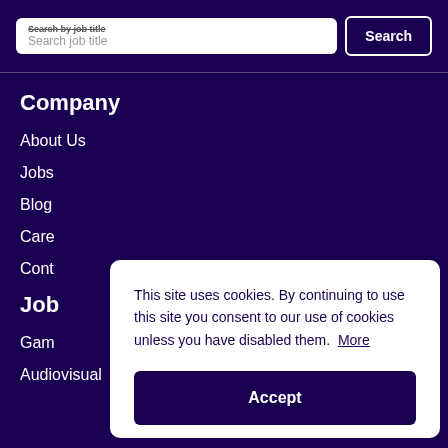[Figure (screenshot): Search bar with 'Search job title' placeholder text and a Search button on dark purple background]
Company
About Us
Jobs
Blog
Care
Cont
Job
Gam
Audiovisual
This site uses cookies. By continuing to use this site you consent to our use of cookies unless you have disabled them.  More
Accept